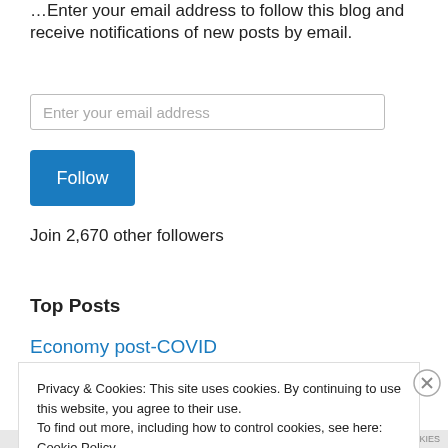Enter your email address to follow this blog and receive notifications of new posts by email.
Enter your email address
Follow
Join 2,670 other followers
Top Posts
Economy post-COVID
Privacy & Cookies: This site uses cookies. By continuing to use this website, you agree to their use.
To find out more, including how to control cookies, see here: Cookie Policy
Close and accept